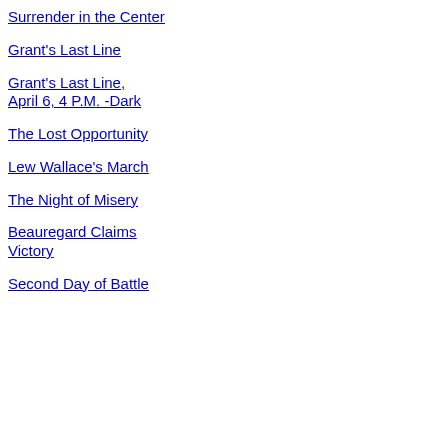Surrender in the Center
Grant's Last Line
Grant's Last Line, April 6, 4 P.M. -Dark
The Lost Opportunity
Lew Wallace's March
The Night of Misery
Beauregard Claims Victory
Second Day of Battle